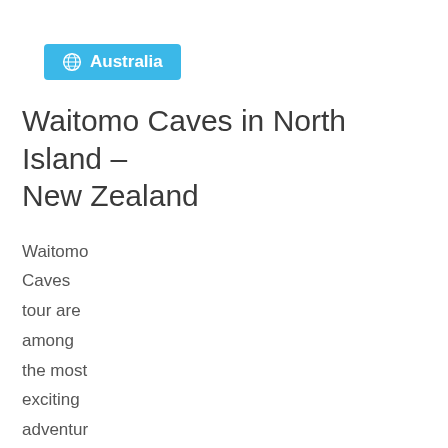Australia
Waitomo Caves in North Island – New Zealand
Waitomo Caves tour are among the most exciting adventures you can embark on while